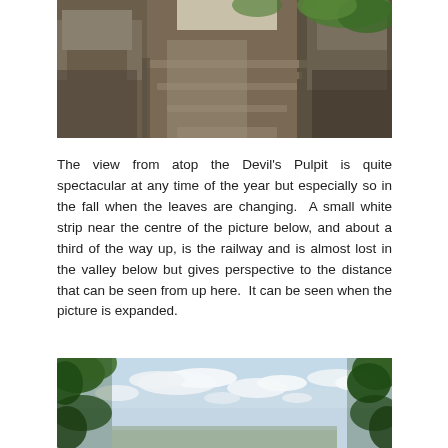[Figure (photo): Photograph of rocky stone steps and large boulders on a forest trail, leading upward between rocks with green foliage visible at top right.]
The view from atop the Devil's Pulpit is quite spectacular at any time of the year but especially so in the fall when the leaves are changing.  A small white strip near the centre of the picture below, and about a third of the way up, is the railway and is almost lost in the valley below but gives perspective to the distance that can be seen from up here.  It can be seen when the picture is expanded.
[Figure (photo): Photograph of a wide open sky with white clouds, framed by tree branches and foliage at the top corners, taken from an elevated viewpoint.]